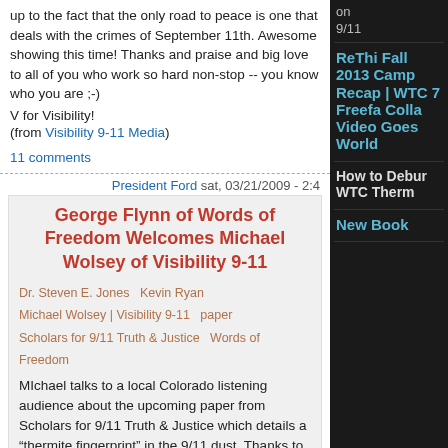up to the fact that the only road to peace is one that deals with the crimes of September 11th. Awesome showing this time! Thanks and praise and big love to all of you who work so hard non-stop -- you know who you are ;-)
V for Visibility!
(from Visibility 9-11 Media)
11 comments
President Ford   sat, 03/21/2009 - 2:4
George Flynn of Words of Freedom Welcomes Michael Wolsey of Visibility 9-11
Dr. Steven E. Jones   Kevin Ryan
Michael Wolsey | Visibility 9-11   paper
Scholars for 9/11 Truth & Justice   Words of Freedom
MIchael talks to a local Colorado listening audience about the upcoming paper from Scholars for 9/11 Truth & Justice which details a "thermite fingerprint" in the 9/11 dust. Thanks to George Flynn and the great folks at KRFC in Fort Collins for getting this important information to a mainstream audience! Visibility 9-11 is committed to raising awareness around this exciting new scientific paper and will be featuring special broadcasts with Dr. Jones and Kevi
ReThi Fall 2013 Camp Recap | WTC 7 Freefa Colla Video Goes World
How to Debur WTC Therm
New Book